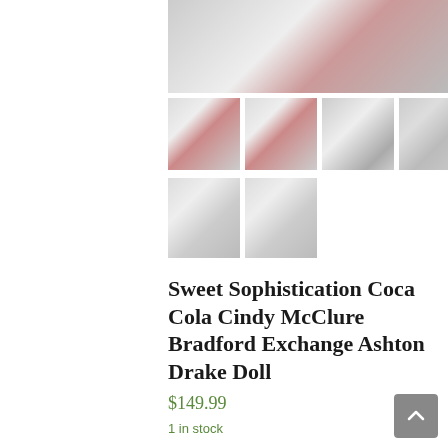[Figure (photo): Product photo gallery showing a Coca Cola Cindy McClure Bradford Exchange Ashton Drake doll. One main image at top showing doll in red outfit, and six thumbnail images below showing various angles of the doll and packaging.]
Sweet Sophistication Coca Cola Cindy McClure Bradford Exchange Ashton Drake Doll
$149.99
1 in stock